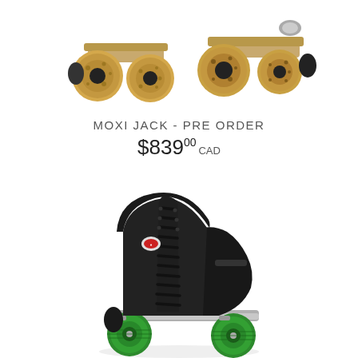[Figure (photo): Two partial roller skate wheel assemblies with tan/beige wheels visible at top of page, cropped]
MOXI JACK - PRE ORDER
$839.00 CAD
[Figure (photo): Black leather quad roller skate with bright green wheels and silver plate, full side view on white background]